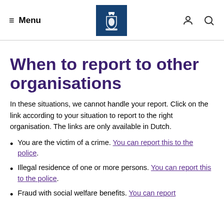Menu | [Dutch Government Logo] | [Person icon] [Search icon]
When to report to other organisations
In these situations, we cannot handle your report. Click on the link according to your situation to report to the right organisation. The links are only available in Dutch.
You are the victim of a crime. You can report this to the police.
Illegal residence of one or more persons. You can report this to the police.
Fraud with social welfare benefits. You can report